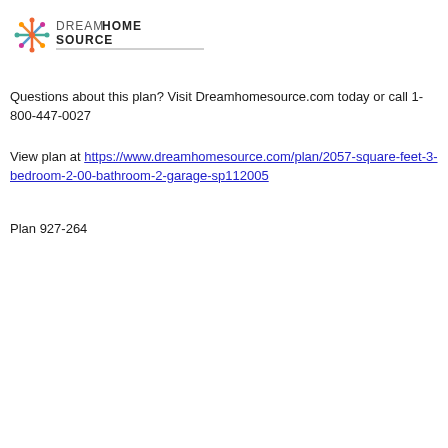[Figure (logo): Dream Home Source logo with colorful snowflake/star icon and text DREAM HOME SOURCE in dark gray/black]
Questions about this plan? Visit Dreamhomesource.com today or call 1-800-447-0027
View plan at https://www.dreamhomesource.com/plan/2057-square-feet-3-bedroom-2-00-bathroom-2-garage-sp112005
Plan 927-264